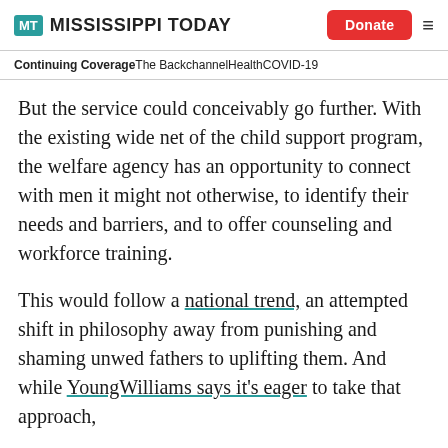MT MISSISSIPPI TODAY | Donate
CONTINUING COVERAGE  The Backchannel  Health  COVID-19
But the service could conceivably go further. With the existing wide net of the child support program, the welfare agency has an opportunity to connect with men it might not otherwise, to identify their needs and barriers, and to offer counseling and workforce training.
This would follow a national trend, an attempted shift in philosophy away from punishing and shaming unwed fathers to uplifting them. And while YoungWilliams says it's eager to take that approach,